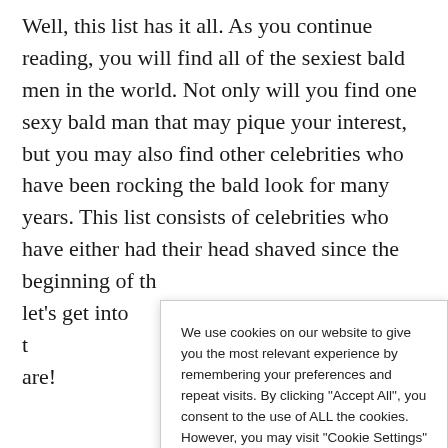Well, this list has it all. As you continue reading, you will find all of the sexiest bald men in the world. Not only will you find one sexy bald man that may pique your interest, but you may also find other celebrities who have been rocking the bald look for many years. This list consists of celebrities who have either had their head shaved since the beginning of th... let's get into t... are!
We use cookies on our website to give you the most relevant experience by remembering your preferences and repeat visits. By clicking "Accept All", you consent to the use of ALL the cookies. However, you may visit "Cookie Settings" to provide a controlled consent.